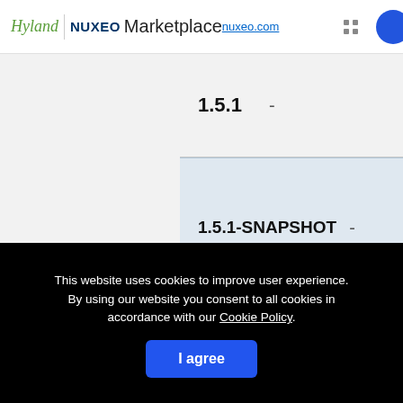Hyland | nuxeo Marketplace nuxeo.com
1.5.1  -
1.5.1-SNAPSHOT  -
This website uses cookies to improve user experience. By using our website you consent to all cookies in accordance with our Cookie Policy.
I agree